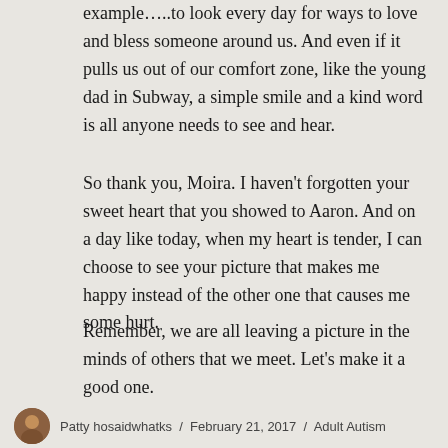example…..to look every day for ways to love and bless someone around us.  And even if it pulls us out of our comfort zone, like the young dad in Subway, a simple smile and a kind word is all anyone needs to see and hear.
So thank you, Moira.  I haven't forgotten your sweet heart that you showed to Aaron.  And on a day like today, when my heart is tender, I can choose to see your picture that makes me happy instead of the other one that causes me some hurt.
Remember, we are all leaving a picture in the minds of others that we meet.  Let's make it a good one.
Patty hosaidwhatks  /  February 21, 2017  /  Adult Autism